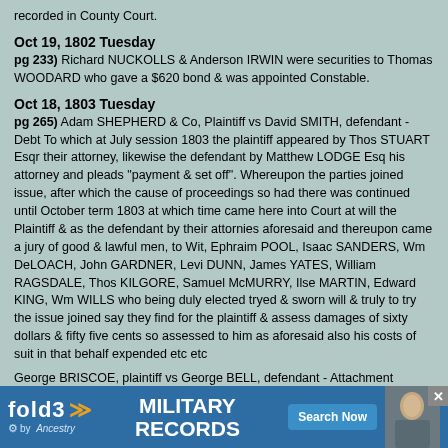recorded in County Court.
Oct 19, 1802 Tuesday
pg 233) Richard NUCKOLLS & Anderson IRWIN were securities to Thomas WOODARD who gave a $620 bond & was appointed Constable.
Oct 18, 1803 Tuesday
pg 265) Adam SHEPHERD & Co, Plaintiff vs David SMITH, defendant - Debt To which at July session 1803 the plaintiff appeared by Thos STUART Esqr their attorney, likewise the defendant by Matthew LODGE Esq his attorney and pleads "payment & set off". Whereupon the parties joined issue, after which the cause of proceedings so had there was continued until October term 1803 at which time came here into Court at will the Plaintiff & as the defendant by their attornies aforesaid and thereupon came a jury of good & lawful men, to Wit, Ephraim POOL, Isaac SANDERS, Wm DeLOACH, John GARDNER, Levi DUNN, James YATES, William RAGSDALE, Thos KILGORE, Samuel McMURRY, Ilse MARTIN, Edward KING, Wm WILLS who being duly elected tryed & sworn will & truly to try the issue joined say they find for the plaintiff & assess damages of sixty dollars & fifty five cents so assessed to him as aforesaid also his costs of suit in that behalf expended etc etc
George BRISCOE, plaintiff vs George BELL, defendant - Attachment
The jury, To Wit, Josiah __, Charles KILGORE, Eli JONES, Wm DORRIS, James GARDNER, Bazel BOREN, James PIKE, Andrew WASHINGTON, James __, Whitmet ARRINGTON, Isham ROGERS, George BROWNING who being duly elected, tryed & sworn, after which the plaintiff suffered a non suit.
Ordered that ... ah FORT & Asa WO...
[Figure (infographic): Fold3 by Ancestry advertisement banner for Military Records with Search Now button and an archival military photo]